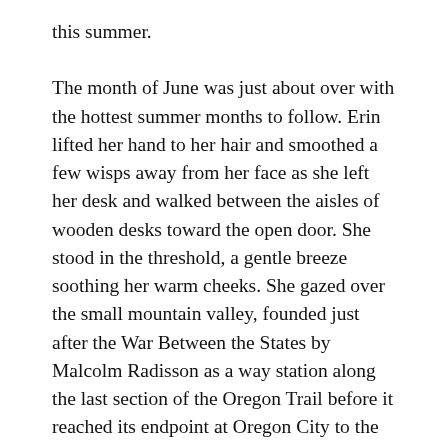this summer.
The month of June was just about over with the hottest summer months to follow. Erin lifted her hand to her hair and smoothed a few wisps away from her face as she left her desk and walked between the aisles of wooden desks toward the open door. She stood in the threshold, a gentle breeze soothing her warm cheeks. She gazed over the small mountain valley, founded just after the War Between the States by Malcolm Radisson as a way station along the last section of the Oregon Trail before it reached its endpoint at Oregon City to the west.